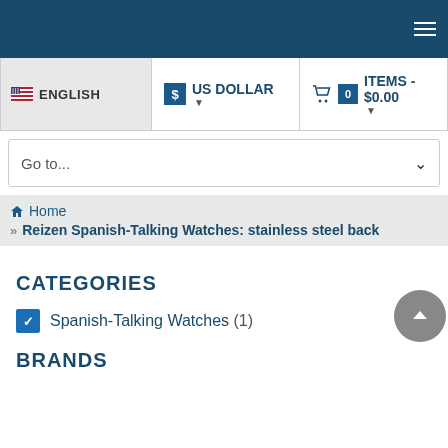[Figure (screenshot): Dark teal navigation header bar with hamburger menu icon on the right]
ENGLISH | US DOLLAR | 0 ITEMS - $0.00
Go to...
Home
Reizen Spanish-Talking Watches: stainless steel back
CATEGORIES
Spanish-Talking Watches (1)
BRANDS